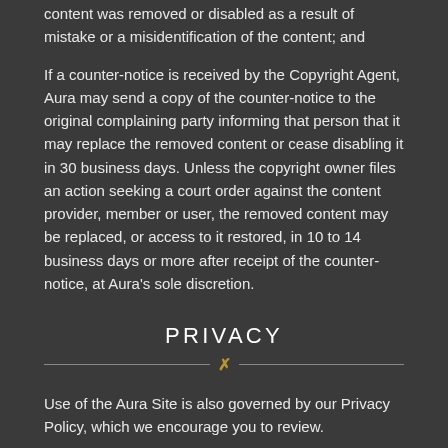content was removed or disabled as a result of mistake or a misidentification of the content; and
If a counter-notice is received by the Copyright Agent, Aura may send a copy of the counter-notice to the original complaining party informing that person that it may replace the removed content or cease disabling it in 30 business days. Unless the copyright owner files an action seeking a court order against the content provider, member or user, the removed content may be replaced, or access to it restored, in 10 to 14 business days or more after receipt of the counter-notice, at Aura's sole discretion.
PRIVACY
Use of the Aura Site is also governed by our Privacy Policy, which we encourage you to review.
OWNERSHIP
As between you and us, the Aura Site, including all photographs, images,